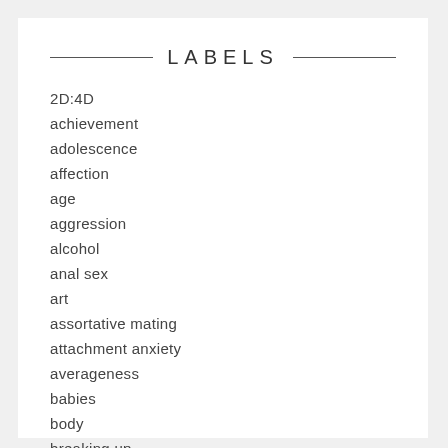LABELS
2D:4D
achievement
adolescence
affection
age
aggression
alcohol
anal sex
art
assortative mating
attachment anxiety
averageness
babies
body
breaking up
breasts